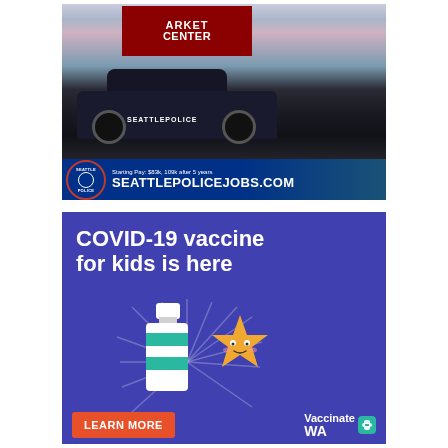[Figure (photo): Seattle Police Department SUV parked in front of Pike Place Market Center sign with cherry blossoms. Bottom bar shows Seattle Police badge logo, text 'Starting Pay: $83k, 109k after 5 years' and 'SEATTLEPOLICEJOBS.COM']
[Figure (infographic): Purple background ad for COVID-19 vaccine for kids. Text: 'COVID-19 vaccine for kids is here'. Illustration of a vaccine bottle with a cute cartoon star character. Bottom has orange 'LEARN MORE' button and 'Vaccinate WA' logo with teal bandage icon.]